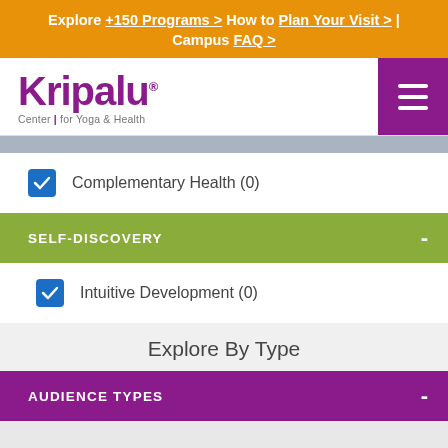Explore +150 Programs > How to Plan Your Visit > | Campus FAQ >
[Figure (logo): Kripalu Center for Yoga & Health logo in purple]
Complementary Health (0) — checked checkbox
SELF-DISCOVERY
Intuitive Development (0) — checked checkbox
Explore By Type
AUDIENCE TYPES